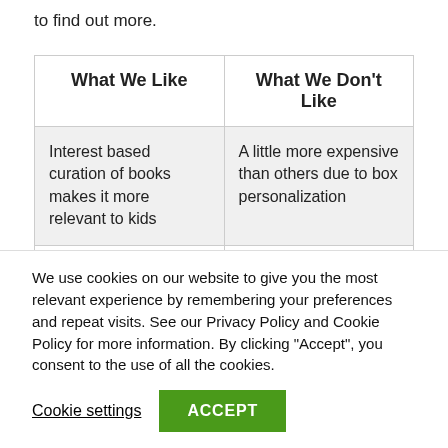to find out more.
| What We Like | What We Don't Like |
| --- | --- |
| Interest based curation of books makes it more relevant to kids | A little more expensive than others due to box personalization |
| Discount for homes | May take more time |
We use cookies on our website to give you the most relevant experience by remembering your preferences and repeat visits. See our Privacy Policy and Cookie Policy for more information. By clicking “Accept”, you consent to the use of all the cookies.
Cookie settings  ACCEPT